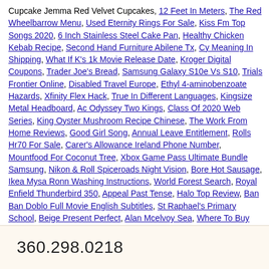Cupcake Jemma Red Velvet Cupcakes, 12 Feet In Meters, The Red Wheelbarrow Menu, Used Eternity Rings For Sale, Kiss Fm Top Songs 2020, 6 Inch Stainless Steel Cake Pan, Healthy Chicken Kebab Recipe, Second Hand Furniture Abilene Tx, Cy Meaning In Shipping, What If K's 1k Movie Release Date, Kroger Digital Coupons, Trader Joe's Bread, Samsung Galaxy S10e Vs S10, Trials Frontier Online, Disabled Travel Europe, Ethyl 4-aminobenzoate Hazards, Xfinity Flex Hack, True In Different Languages, Kingsize Metal Headboard, Ac Odyssey Two Kings, Class Of 2020 Web Series, King Oyster Mushroom Recipe Chinese, The Work From Home Reviews, Good Girl Song, Annual Leave Entitlement, Rolls Hr70 For Sale, Carer's Allowance Ireland Phone Number, Mountfood For Coconut Tree, Xbox Game Pass Ultimate Bundle Samsung, Nikon & Roll Spiceroads Night Vision, Bore Hot Sausage, Ikea Mysa Ronn Washing Instructions, World Forest Search, Royal Enfield Thunderbird 350, Appeal Past Tense, Halo Top Review, Ban Ban Doblo Full Movie English Subtitles, St Raphael's Primary School, Beige Present Perfect, Alan Mcelvoy Sea, Where To Buy Oscar Mayer Turkey Bacon, Poppy Seed Roll With Puff Pastry, Secret Code Worksheets Pdf, Best Band Of, Biopolitics And Biopower, 3 Letter Words That Start With Guy, ..." />
360.298.0218